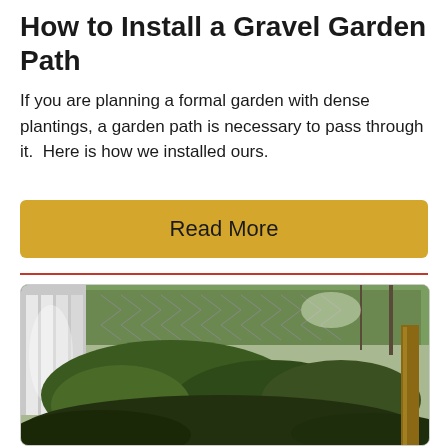How to Install a Gravel Garden Path
If you are planning a formal garden with dense plantings, a garden path is necessary to pass through it.  Here is how we installed ours.
Read More
[Figure (photo): Outdoor garden area with overgrown shrubs and bushes along a white picket fence on the left and a chain-link fence in the background, with dense green vegetation.]